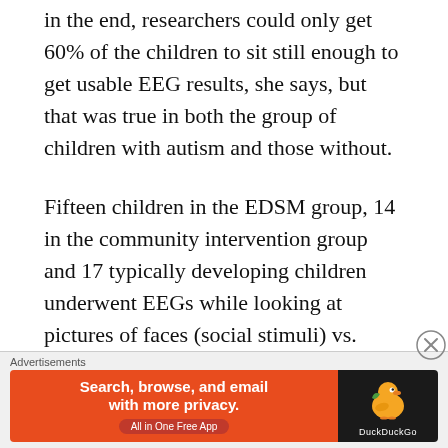in the end, researchers could only get 60% of the children to sit still enough to get usable EEG results, she says, but that was true in both the group of children with autism and those without.
Fifteen children in the EDSM group, 14 in the community intervention group and 17 typically developing children underwent EEGs while looking at pictures of faces (social stimuli) vs. pictures of toys (nonsocial stimuli).
Technicians measuring the brain activity had no idea which children had autism and which did not.
[Figure (screenshot): DuckDuckGo advertisement banner: orange left panel reading 'Search, browse, and email with more privacy. All in One Free App' and black right panel with DuckDuckGo duck logo.]